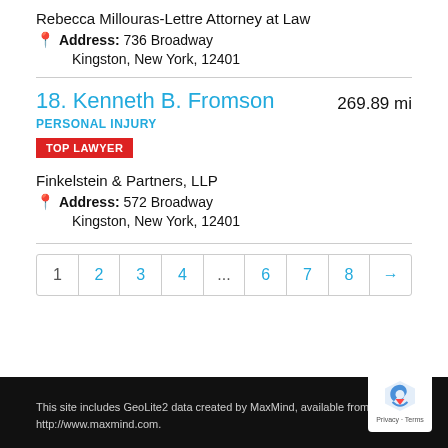Rebecca Millouras-Lettre Attorney at Law
Address: 736 Broadway Kingston, New York, 12401
18. Kenneth B. Fromson
269.89 mi
PERSONAL INJURY
TOP LAWYER
Finkelstein & Partners, LLP
Address: 572 Broadway Kingston, New York, 12401
1 2 3 4 ... 6 7 8 →
This site includes GeoLite2 data created by MaxMind, available from http://www.maxmind.com.